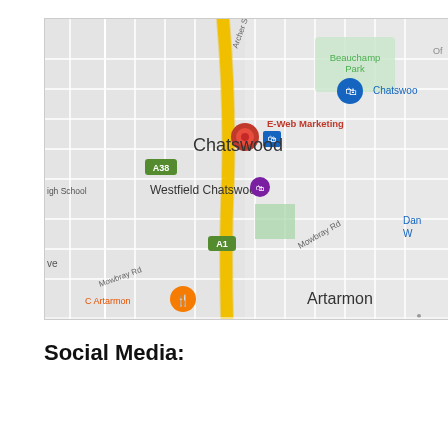[Figure (map): Google Maps screenshot showing Chatswood area in Sydney, Australia. Features E-Web Marketing location pin (red), Beauchamp Park, Westfield Chatswood, A38 and A1 road markers, Mowbray Rd, and Artarmon suburb label. A yellow highway runs vertically through the center.]
Social Media: